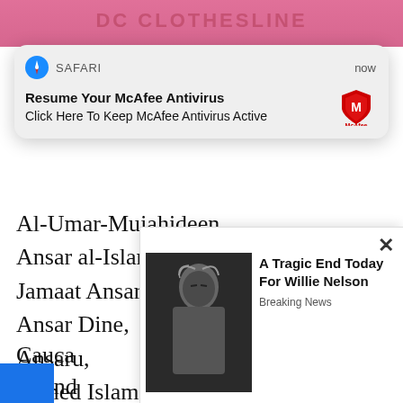[Figure (screenshot): Screenshot of a webpage listing terrorist organization names, overlaid with a Safari browser push notification for McAfee Antivirus and a news advertisement popup about Willie Nelson.]
Al-Umar-Mujahideen,
Ansar al-Islam,
Jamaat Ansar al-Sunna,
Ansar Dine,
Ansaru,
Armed Islamic Group of Algeria,
Army of Islam,
Osbat al-Ansar,
Cauca... (partially obscured)
Deend... (partially obscured)
Dukht... (partially obscured)
SAFARI  now
Resume Your McAfee Antivirus
Click Here To Keep McAfee Antivirus Active
× A Tragic End Today For Willie Nelson
Breaking News